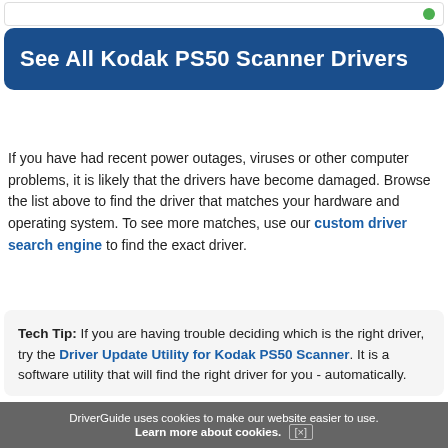[Figure (screenshot): Top bar with border and green dot icon]
See All Kodak PS50 Scanner Drivers
If you have had recent power outages, viruses or other computer problems, it is likely that the drivers have become damaged. Browse the list above to find the driver that matches your hardware and operating system. To see more matches, use our custom driver search engine to find the exact driver.
Tech Tip: If you are having trouble deciding which is the right driver, try the Driver Update Utility for Kodak PS50 Scanner. It is a software utility that will find the right driver for you - automatically.
DriverGuide uses cookies to make our website easier to use. Learn more about cookies. [×]